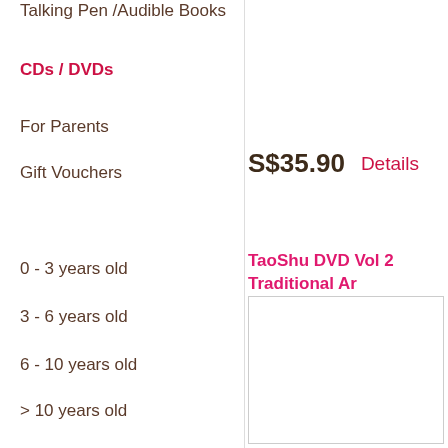Talking Pen /Audible Books
CDs / DVDs
For Parents
Gift Vouchers
0 - 3 years old
3 - 6 years old
6 - 10 years old
> 10 years old
About Us
Customer Testimonials
S$35.90
Details
TaoShu DVD Vol 2 Traditional Ar... & Performances